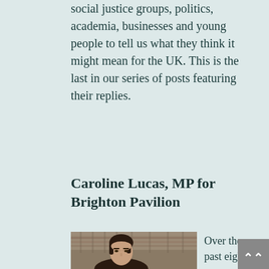social justice groups, politics, academia, businesses and young people to tell us what they think it might mean for the UK. This is the last in our series of posts featuring their replies.
Caroline Lucas, MP for Brighton Pavilion
[Figure (photo): Photo of Caroline Lucas with stone building in background]
Over the past eight years, successive